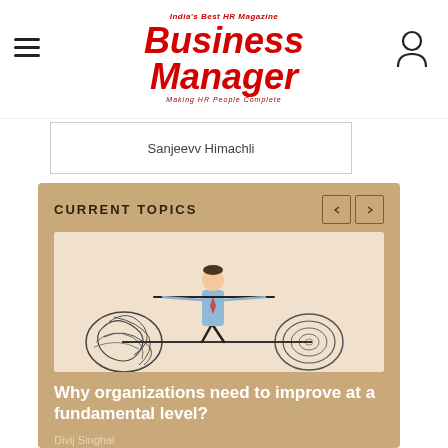India's Best HR Magazine — Business Manager — Making HR People Complete
Sanjeevv Himachli
CURRENT TOPICS
[Figure (illustration): Illustration of a businessman in a blue shirt and dark trousers balancing on a tightrope while holding a long pole, walking between a tangled messy ball of rope on the left and a neat coiled circle on the right, representing the concept of improving from chaos to order.]
Why organizations need to improve at a fundamental level?
Divij Singhal